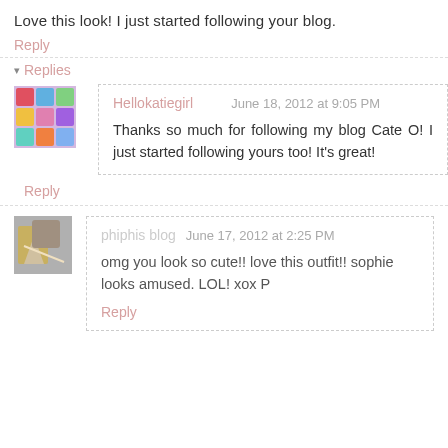Love this look! I just started following your blog.
Reply
Replies
Hellokatiegirl    June 18, 2012 at 9:05 PM
Thanks so much for following my blog Cate O! I just started following yours too! It's great!
Reply
phiphis blog  June 17, 2012 at 2:25 PM
omg you look so cute!! love this outfit!! sophie looks amused. LOL! xox P
Reply